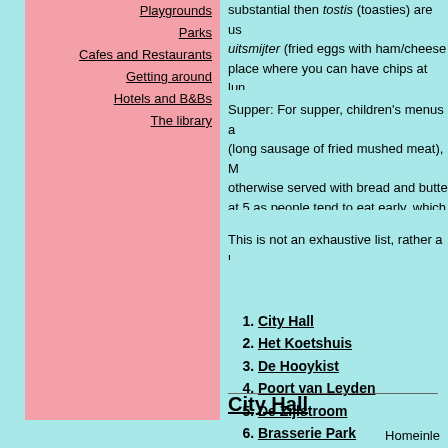Playgrounds
Parks
Cafes and Restaurants
Getting around
Hotels and B&Bs
The library
substantial then tostis (toasties) are ... uitsmijter (fried eggs with ham/cheese place where you can have chips at lunch for lunch (opens 12pm) as it's quieter... good for wriggly ones as they have a p
Supper: For supper, children's menus (long sausage of fried mushed meat), otherwise served with bread and butter at 5 as people tend to eat early, which
This is not an exhaustive list, rather a l
1. City Hall
2. Het Koetshuis
3. De Hooykist
4. Poort van Leyden
5. De Zijlstroom
6. Brasserie Park
7. Bocconi
8. Jacketz
City Hall
Homeinle